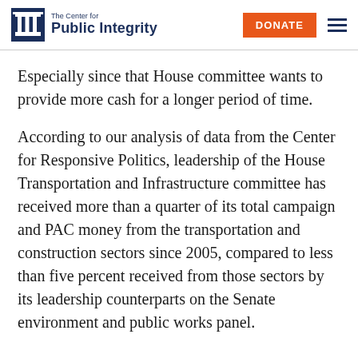The Center for Public Integrity | DONATE
Especially since that House committee wants to provide more cash for a longer period of time.
According to our analysis of data from the Center for Responsive Politics, leadership of the House Transportation and Infrastructure committee has received more than a quarter of its total campaign and PAC money from the transportation and construction sectors since 2005, compared to less than five percent received from those sectors by its leadership counterparts on the Senate environment and public works panel.